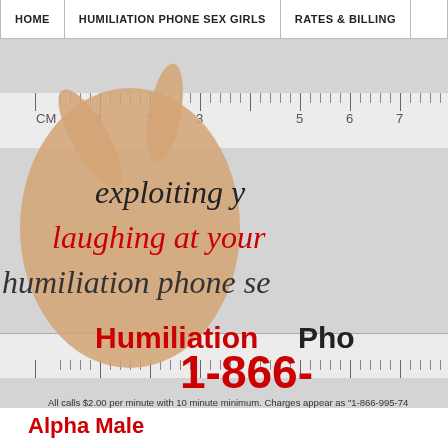HOME | HUMILIATION PHONE SEX GIRLS | RATES & BILLING
[Figure (photo): Website banner/hero image showing a hand holding fingers close together over a ruler, with script text overlays reading 'exploiting y', 'laughing at your', 'humiliation phone se', brand name 'HumiliationPho' and phone number '1-866-' partially visible. Disclaimer: All calls $2.00 per minute with 10 minute minimum. Charges appear as "1-866-995-74"]
Alpha Male
Little Dick Humiliation: Your Dicklet Will Never